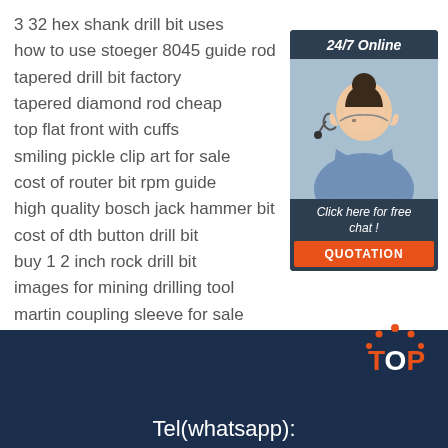3 32 hex shank drill bit uses
how to use stoeger 8045 guide rod
tapered drill bit factory
tapered diamond rod cheap
top flat front with cuffs
smiling pickle clip art for sale
cost of router bit rpm guide
high quality bosch jack hammer bit
cost of dth button drill bit
buy 1 2 inch rock drill bit
images for mining drilling tool
martin coupling sleeve for sale
[Figure (photo): Customer service representative with headset, sidebar widget with 24/7 Online header, Click here for free chat text, and QUOTATION orange button]
[Figure (logo): TOP logo in orange with decorative dots on dark navy background]
Tel(whatsapp):